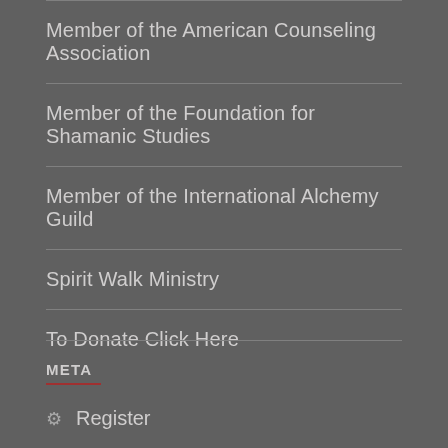Member of the American Counseling Association
Member of the Foundation for Shamanic Studies
Member of the International Alchemy Guild
Spirit Walk Ministry
To Donate Click Here
META
Register